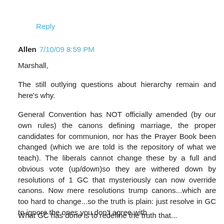Reply
Allen  7/10/09 8:59 PM
Marshall,
The still outlying questions about hierarchy remain and here's why.
General Convention has NOT officially amended (by our own rules) the canons defining marriage, the proper candidates for communion, nor has the Prayer Book been changed (which we are told is the repository of what we teach). The liberals cannot change these by a full and obvious vote (up/down)so they are withered down by resolutions of 1 GC that mysteriously can now override canons. Now mere resolutions trump canons...which are too hard to change...so the truth is plain: just resolve in GC to ignore the ones you don't agree with.
What GC has done is to redefine the truth that...